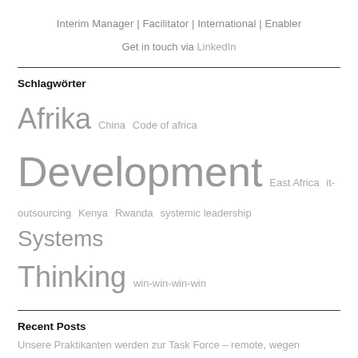Interim Manager | Facilitator | International | Enabler
Get in touch via LinkedIn
Schlagwörter
Afrika China Code of africa Development East Africa it-outsourcing Kenya Rwanda systemic leadership Systems Thinking win-win-win-win
Recent Posts
Unsere Praktikanten werden zur Task Force – remote, wegen